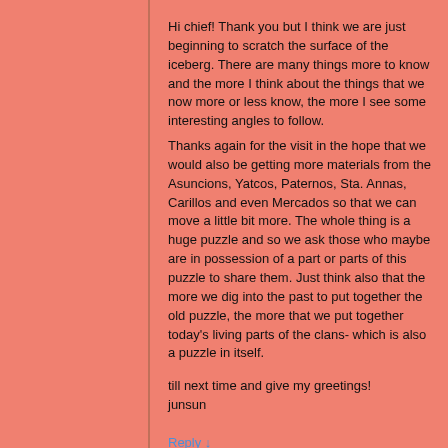Hi chief! Thank you but I think we are just beginning to scratch the surface of the iceberg. There are many things more to know and the more I think about the things that we now more or less know, the more I see some interesting angles to follow.
Thanks again for the visit in the hope that we would also be getting more materials from the Asuncions, Yatcos, Paternos, Sta. Annas, Carillos and even Mercados so that we can move a little bit more. The whole thing is a huge puzzle and so we ask those who maybe are in possession of a part or parts of this puzzle to share them. Just think also that the more we dig into the past to put together the old puzzle, the more that we put together today's living parts of the clans- which is also a puzzle in itself.

till next time and give my greetings!
junsun
Reply ↓